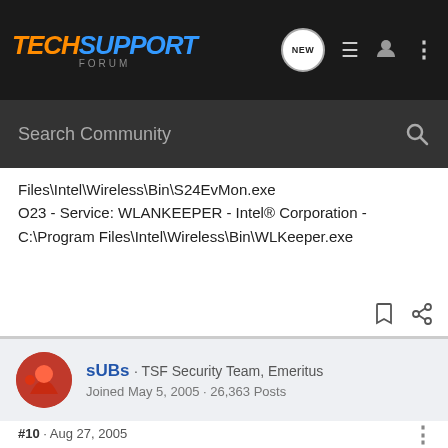TechSupport Forum - header navigation bar
Files\Intel\Wireless\Bin\S24EvMon.exe
O23 - Service: WLANKEEPER - Intel® Corporation - C:\Program Files\Intel\Wireless\Bin\WLKeeper.exe
sUBs · TSF Security Team, Emeritus
Joined May 5, 2005 · 26,363 Posts
#10 · Aug 27, 2005
Clean like a whistle.
Surf Safe & Stay Safe.